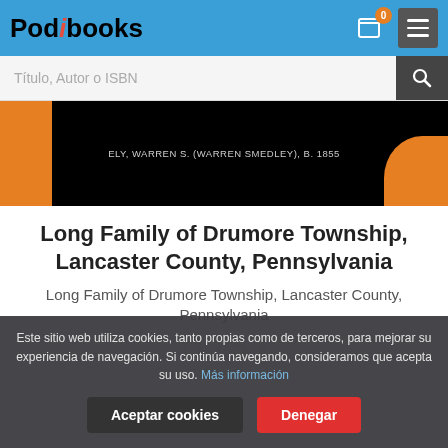Podibooks
Título, Autor o ISBN
[Figure (photo): Book cover with black background, orange left strip and bottom-right accent, text reading ELY, WARREN S. (WARREN SMEDLEY), B. 1855]
Long Family of Drumore Township, Lancaster County, Pennsylvania
Long Family of Drumore Township, Lancaster County, Pennsylvania
Este sitio web utiliza cookies, tanto propias como de terceros, para mejorar su experiencia de navegación. Si continúa navegando, consideramos que acepta su uso. Más información
Aceptar cookies
Denegar